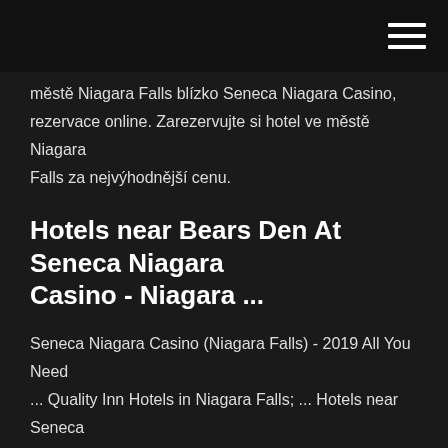městě Niagara Falls blízko Seneca Niagara Casino, rezervace online. Zarezervujte si hotel ve městě Niagara Falls za nejvýhodnější cenu.
Hotels near Bears Den At Seneca Niagara Casino - Niagara ...
Seneca Niagara Casino (Niagara Falls) - 2019 All You Need ... Quality Inn Hotels in Niagara Falls; ... Hotels near Seneca Niagara Casino; ... for those of you who attend special events at the Seneca Niagara Casino, ... Quality Hotel & Suites at the Falls in Niagara Falls, NY ... Book a room at the Quality Hotel & Suites At The Falls hotel in Niagara Falls, NY. This hotel is located near Niagara Falls and the Seneca Niagara Casino. Quality Inn - Niagara Falls, NY